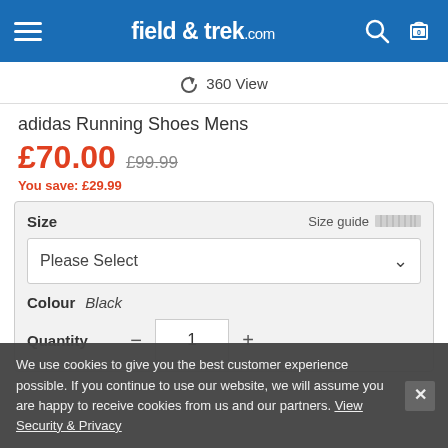field & trek.com
360 View
adidas Running Shoes Mens
£70.00  £99.99  You save: £29.99
Size   Size guide   Please Select   Colour   Black   Quantity   1
We use cookies to give you the best customer experience possible. If you continue to use our website, we will assume you are happy to receive cookies from us and our partners. View Security & Privacy